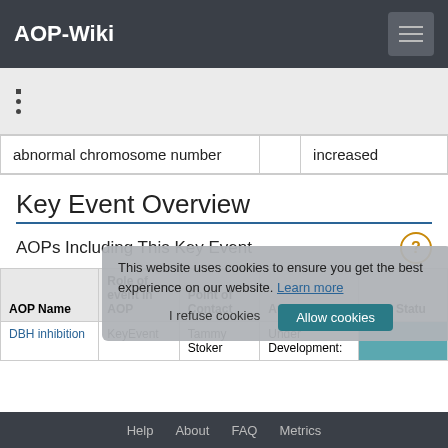AOP-Wiki
•
•
•
|  |  | increased |
| --- | --- | --- |
| abnormal chromosome number |  | increased |
Key Event Overview
AOPs Including This Key Event
| AOP Name | Role of event in AOP | Point of Contact | Author Status | OEC Status |
| --- | --- | --- | --- | --- |
| DBH inhibition | KeyEvent | Tammy Stoker | Under Development: |  |
This website uses cookies to ensure you get the best experience on our website. Learn more
Help  About  FAQ  Metrics